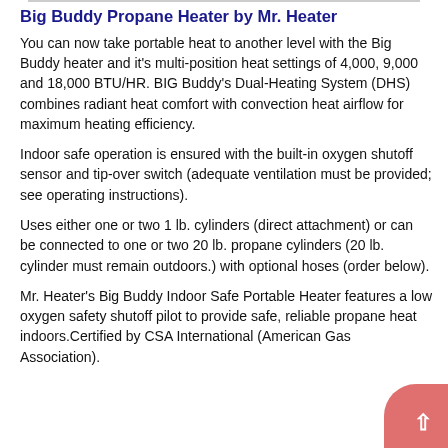Big Buddy Propane Heater by Mr. Heater
You can now take portable heat to another level with the Big Buddy heater and it's multi-position heat settings of 4,000, 9,000 and 18,000 BTU/HR. BIG Buddy's Dual-Heating System (DHS) combines radiant heat comfort with convection heat airflow for maximum heating efficiency.
Indoor safe operation is ensured with the built-in oxygen shutoff sensor and tip-over switch (adequate ventilation must be provided; see operating instructions).
Uses either one or two 1 lb. cylinders (direct attachment) or can be connected to one or two 20 lb. propane cylinders (20 lb. cylinder must remain outdoors.) with optional hoses (order below).
Mr. Heater's Big Buddy Indoor Safe Portable Heater features a low oxygen safety shutoff pilot to provide safe, reliable propane heat indoors.Certified by CSA International (American Gas Association).